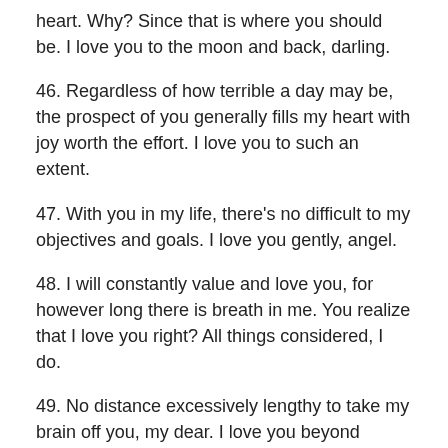heart. Why? Since that is where you should be. I love you to the moon and back, darling.
46. Regardless of how terrible a day may be, the prospect of you generally fills my heart with joy worth the effort. I love you to such an extent.
47. With you in my life, there’s no difficult to my objectives and goals. I love you gently, angel.
48. I will constantly value and love you, for however long there is breath in me. You realize that I love you right? All things considered, I do.
49. No distance excessively lengthy to take my brain off you, my dear. I love you beyond anything describable.
50. I adored you. I actually love you and I will constantly